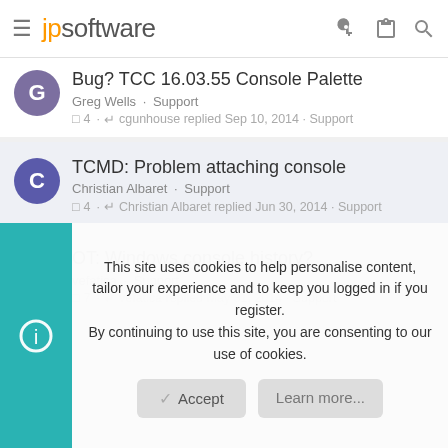jpsoftware
Bug? TCC 16.03.55 Console Palette — Greg Wells · Support — 4 · cgunhouse replied Sep 10, 2014 · Support
TCMD: Problem attaching console — Christian Albaret · Support — 4 · Christian Albaret replied Jun 30, 2014 · Support
OT: Windows console history? — vefatica · Support — 7 · vefatica replied May 31, 2014 · Support
This site uses cookies to help personalise content, tailor your experience and to keep you logged in if you register. By continuing to use this site, you are consenting to our use of cookies.
Accept | Learn more...